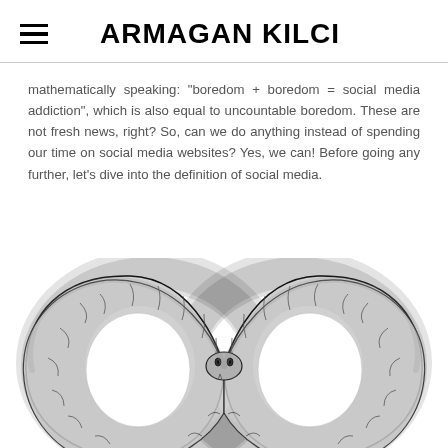ARMAGAN KILCI
mathematically speaking: "boredom + boredom = social media addiction", which is also equal to uncountable boredom. These are not fresh news, right? So, can we do anything instead of spending our time on social media websites? Yes, we can! Before going any further, let's dive into the definition of social media.
[Figure (illustration): Black and white detailed pen drawing of a double ouroboros — two snakes biting each other's tails, arranged in a figure-eight / infinity symbol shape. The snakes have detailed scales and the composition is symmetrical.]